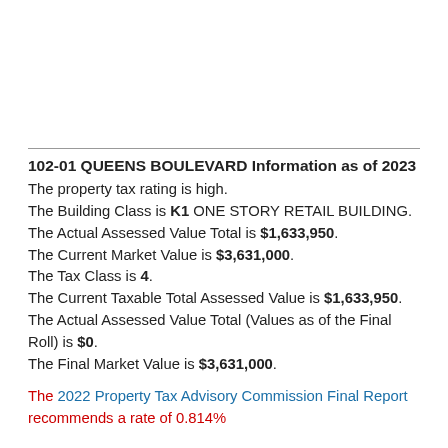102-01 QUEENS BOULEVARD Information as of 2023
The property tax rating is high. The Building Class is K1 ONE STORY RETAIL BUILDING. The Actual Assessed Value Total is $1,633,950. The Current Market Value is $3,631,000. The Tax Class is 4. The Current Taxable Total Assessed Value is $1,633,950. The Actual Assessed Value Total (Values as of the Final Roll) is $0. The Final Market Value is $3,631,000.
The 2022 Property Tax Advisory Commission Final Report recommends a rate of 0.814%...